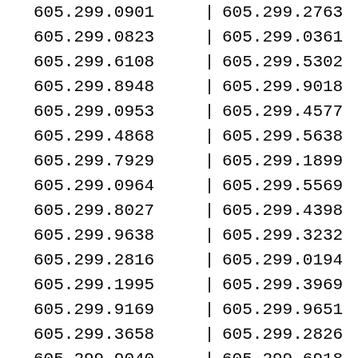| 605.299.0901 | | | 605.299.2763 | | |
| 605.299.0823 | | | 605.299.0361 | | |
| 605.299.6108 | | | 605.299.5302 | | |
| 605.299.8948 | | | 605.299.9018 | | |
| 605.299.0953 | | | 605.299.4577 | | |
| 605.299.4868 | | | 605.299.5638 | | |
| 605.299.7929 | | | 605.299.1899 | | |
| 605.299.0964 | | | 605.299.5569 | | |
| 605.299.8027 | | | 605.299.4398 | | |
| 605.299.9638 | | | 605.299.3232 | | |
| 605.299.2816 | | | 605.299.0194 | | |
| 605.299.1995 | | | 605.299.3969 | | |
| 605.299.9169 | | | 605.299.9651 | | |
| 605.299.3658 | | | 605.299.2826 | | |
| 605.299.9040 | | | 605.299.6918 | | |
| 605.299.3445 | | | 605.299.8160 | | |
| 605.299.1020 | | | 605.299.9388 | | |
| 605.299.6232 | | | 605.299.8341 | | |
| 605.299.7360 | | | 605.299.3742 | | |